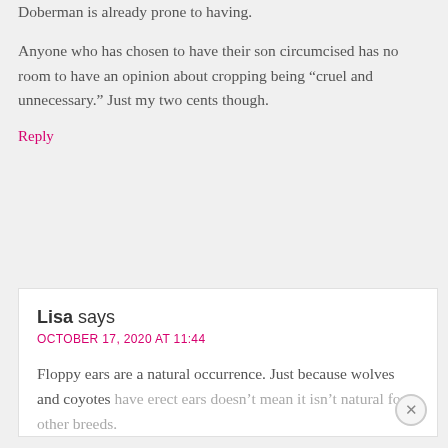Doberman is already prone to having.
Anyone who has chosen to have their son circumcised has no room to have an opinion about cropping being “cruel and unnecessary.” Just my two cents though.
Reply
Lisa says
OCTOBER 17, 2020 AT 11:44
Floppy ears are a natural occurrence. Just because wolves and coyotes have erect ears doesn’t mean it isn’t natural for other breeds.